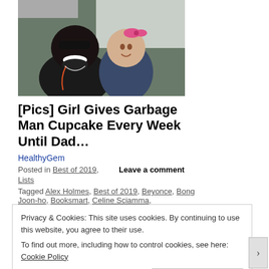[Figure (photo): A man with sunglasses smiling and a young girl with a pink bow, outdoors.]
[Pics] Girl Gives Garbage Man Cupcake Every Week Until Dad…
HealthyGem
Posted in Best of 2019,    Leave a comment
Lists
Tagged Alex Holmes, Best of 2019, Beyonce, Bong Joon-ho, Booksmart, Celine Sciamma,
Privacy & Cookies: This site uses cookies. By continuing to use this website, you agree to their use.
To find out more, including how to control cookies, see here: Cookie Policy
Close and accept